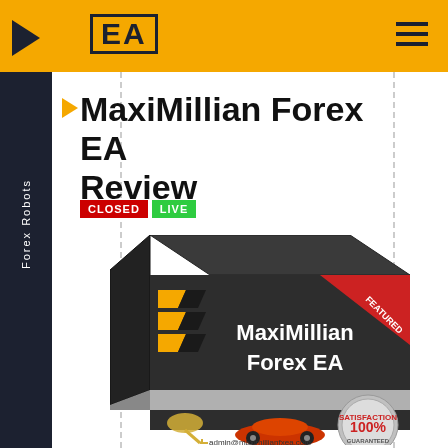[Figure (screenshot): Website header with orange background, dark play arrow on left, EA logo box in yellow/black, and hamburger menu on right]
Forex Robots
MaxiMillian Forex EA Review
CLOSED LIVE
[Figure (illustration): MaxiMillian Forex EA product box with dark background, yellow chevrons, FEATURED ribbon in red, text MaxiMillian Forex EA, with keys, sports car, and 100% Satisfaction Guaranteed seal below, and admin@maximillianfxea.com at bottom]